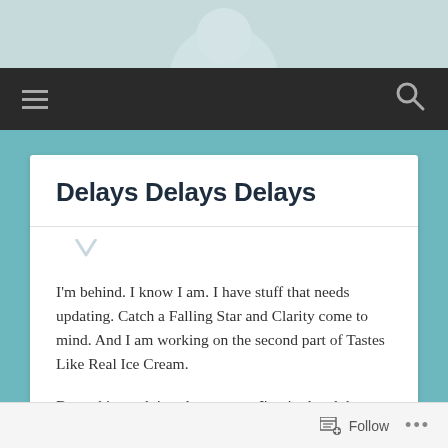[Figure (photo): Partial photo of a person, cropped showing neck/chin area, light background]
Navigation bar with hamburger menu icon and search icon
Delays Delays Delays
I'm behind. I know I am. I have stuff that needs updating. Catch a Falling Star and Clarity come to mind. And I am working on the second part of Tastes Like Real Ice Cream.
But…this week is a drag on me. I'm tired and the stress is catching up with me. I am kind of
Follow ...